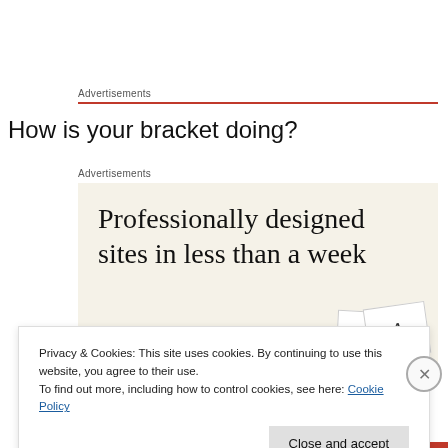Advertisements
How is your bracket doing?
Advertisements
[Figure (illustration): Advertisement banner with cream background showing text 'Professionally designed sites in less than a week' with decorative card elements in the corner.]
Privacy & Cookies: This site uses cookies. By continuing to use this website, you agree to their use.
To find out more, including how to control cookies, see here: Cookie Policy
Close and accept